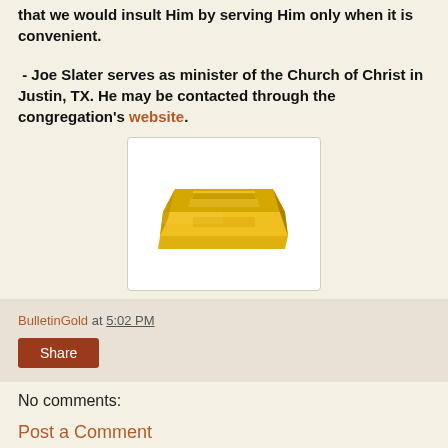that we would insult Him by serving Him only when it is convenient.
- Joe Slater serves as minister of the Church of Christ in Justin, TX. He may be contacted through the congregation's website.
[Figure (photo): A gold bar (bullion) on a white background inside a rounded rectangle frame]
BulletinGold at 5:02 PM
Share
No comments:
Post a Comment